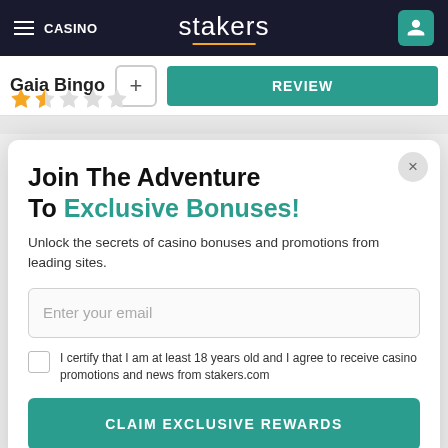CASINO | stakers
Gaia Bingo
REVIEW
Join The Adventure To Exclusive Bonuses!
Unlock the secrets of casino bonuses and promotions from leading sites.
Enter your email
I certify that I am at least 18 years old and I agree to receive casino promotions and news from stakers.com
CLAIM EXCLUSIVE REWARDS